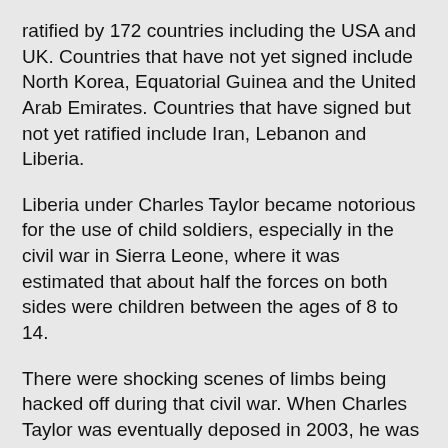ratified by 172 countries including the USA and UK. Countries that have not yet signed include North Korea, Equatorial Guinea and the United Arab Emirates. Countries that have signed but not yet ratified include Iran, Lebanon and Liberia.
Liberia under Charles Taylor became notorious for the use of child soldiers, especially in the civil war in Sierra Leone, where it was estimated that about half the forces on both sides were children between the ages of 8 to 14.
There were shocking scenes of limbs being hacked off during that civil war. When Charles Taylor was eventually deposed in 2003, he was allowed to stay with his family in exile in Nigeria, but three years later the new President of Liberia, Ellen Sirleaf, asked for his extradition and he was eventually tried at the Hague International Court.